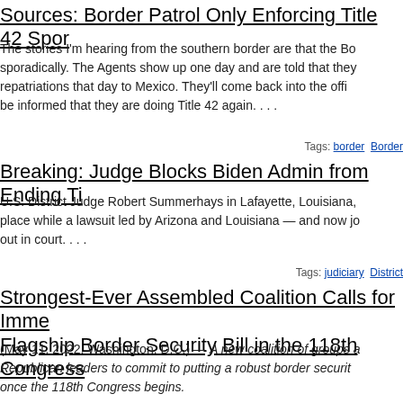Sources: Border Patrol Only Enforcing Title 42 Sporadically
The stories I'm hearing from the southern border are that the Border Patrol is only enforcing Title 42 sporadically. The Agents show up one day and are told that they are doing repatriations that day to Mexico. They'll come back into the office a few days later and be informed that they are doing Title 42 again. . . .
Tags: border Border
Breaking: Judge Blocks Biden Admin from Ending Title 42
U.S. District Judge Robert Summerhays in Lafayette, Louisiana, issued a stay to keep Title 42 in place while a lawsuit led by Arizona and Louisiana — and now joined by 22 other states — plays out in court. . . .
Tags: judiciary District
Strongest-Ever Assembled Coalition Calls for Immediate Passage of Flagship Border Security Bill in the 118th Congress
(May 11, 2022, Washington, D.C.) — A new coalition of groups a... Republican leaders to commit to putting a robust border security... once the 118th Congress begins.